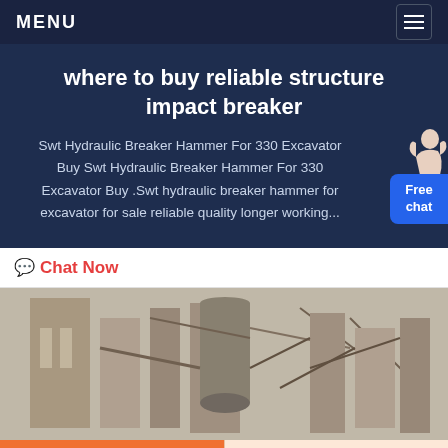MENU
where to buy reliable structure impact breaker
Swt Hydraulic Breaker Hammer For 330 Excavator Buy Swt Hydraulic Breaker Hammer For 330 Excavator Buy .Swt hydraulic breaker hammer for excavator for sale reliable quality longer working...
Chat Now
[Figure (photo): Industrial machinery or plant equipment, showing large metal silos, pipes, and structural supports in a grey industrial setting.]
Get a Quote
WhatsApp